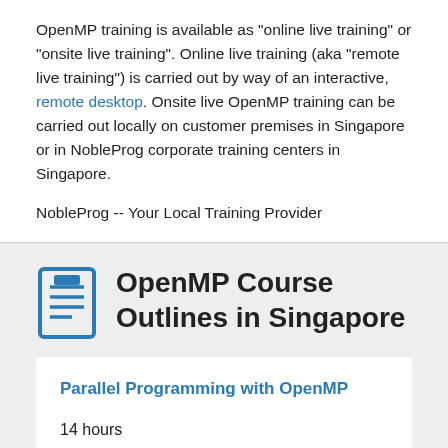OpenMP training is available as "online live training" or "onsite live training". Online live training (aka "remote live training") is carried out by way of an interactive, remote desktop. Onsite live OpenMP training can be carried out locally on customer premises in Singapore or in NobleProg corporate training centers in Singapore.
NobleProg -- Your Local Training Provider
OpenMP Course Outlines in Singapore
Parallel Programming with OpenMP
14 hours